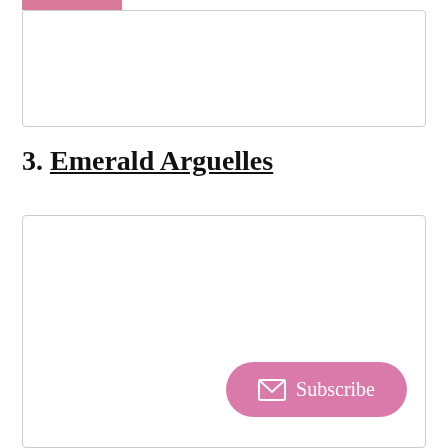[Figure (other): Top card/image placeholder box with pink accent bar at top-left]
3. Emerald Arguelles
[Figure (other): Bottom card/image placeholder box with pink Subscribe button at bottom-right]